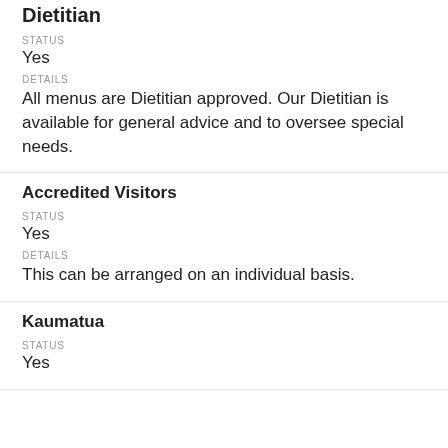Dietitian
STATUS
Yes
DETAILS
All menus are Dietitian approved. Our Dietitian is available for general advice and to oversee special needs.
Accredited Visitors
STATUS
Yes
DETAILS
This can be arranged on an individual basis.
Kaumatua
STATUS
Yes